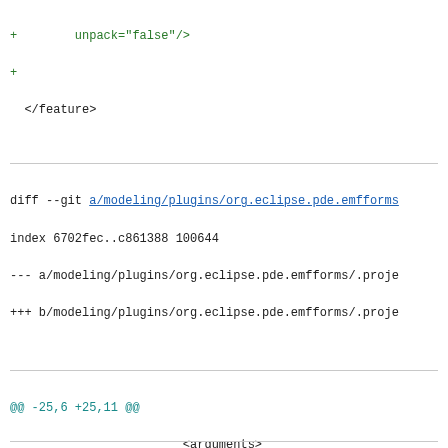+        unpack="false"/>
+
</feature>
diff --git a/modeling/plugins/org.eclipse.pde.emfforms... index 6702fec..c861388 100644
--- a/modeling/plugins/org.eclipse.pde.emfforms/.proje
+++ b/modeling/plugins/org.eclipse.pde.emfforms/.proje
@@ -25,6 +25,11 @@
                        <arguments>
                        </arguments>
                </buildCommand>
+               <buildCommand>
+                       <name>org.eclipse.pde.ds.core.
+                       <arguments>
+                       </arguments>
+               </buildCommand>
        </buildSpec>
        <natures>
                <nature>org.eclipse.pde.PluginNature</